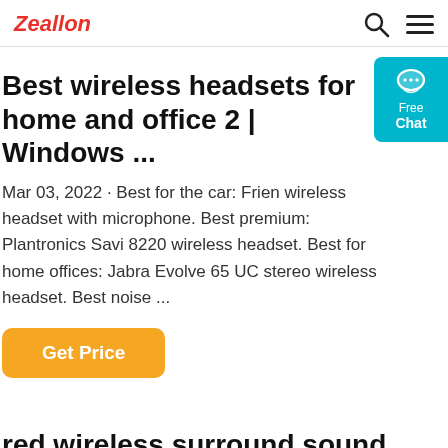Zeallon
Best wireless headsets for home and office 2 | Windows ...
Mar 03, 2022 · Best for the car: Frien wireless headset with microphone. Best premium: Plantronics Savi 8220 wireless headset. Best for home offices: Jabra Evolve 65 UC stereo wireless headset. Best noise ...
Get Price
red wireless surround sound headset with mic - Best Buy